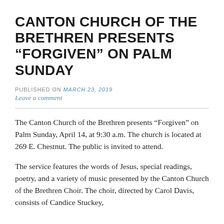CANTON CHURCH OF THE BRETHREN PRESENTS “FORGIVEN” ON PALM SUNDAY
PUBLISHED ON March 23, 2019
Leave a comment
The Canton Church of the Brethren presents “Forgiven” on Palm Sunday, April 14, at 9:30 a.m. The church is located at 269 E. Chestnut. The public is invited to attend.
The service features the words of Jesus, special readings, poetry, and a variety of music presented by the Canton Church of the Brethren Choir. The choir, directed by Carol Davis, consists of Candice Stuckey,